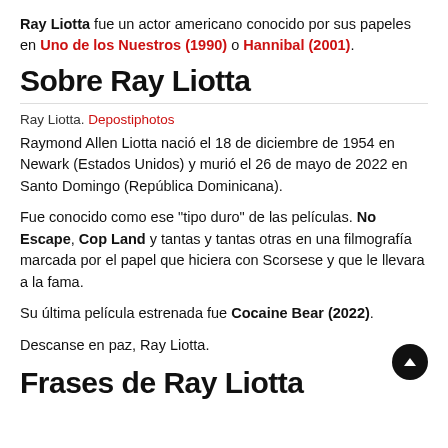Ray Liotta fue un actor americano conocido por sus papeles en Uno de los Nuestros (1990) o Hannibal (2001).
Sobre Ray Liotta
Ray Liotta. Depostiphotos
Raymond Allen Liotta nació el 18 de diciembre de 1954 en Newark (Estados Unidos) y murió el 26 de mayo de 2022 en Santo Domingo (República Dominicana).
Fue conocido como ese "tipo duro" de las películas. No Escape, Cop Land y tantas y tantas otras en una filmografía marcada por el papel que hiciera con Scorsese y que le llevara a la fama.
Su última película estrenada fue Cocaine Bear (2022).
Descanse en paz, Ray Liotta.
Frases de Ray Liotta